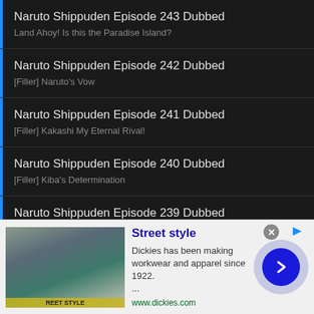Naruto Shippuden Episode 243 Dubbed
Land Ahoy! Is this the Paradise Island?
Naruto Shippuden Episode 242 Dubbed
[Filler] Naruto's Vow
Naruto Shippuden Episode 241 Dubbed
[Filler] Kakashi My Eternal Rival!
Naruto Shippuden Episode 240 Dubbed
[Filler] Kiba's Determination
Naruto Shippuden Episode 239 Dubbed
[Filler] The Legendary Ino-Shika-Cho
Naruto Shippuden Episode 238 Dubbed
[Figure (screenshot): Advertisement banner for Dickies brand showing a woman in street style clothing with teal pants and white top. Ad text: Street style. Dickies has been making workwear and apparel since 1922.... www.dickies.com]
Street style
Dickies has been making workwear and apparel since 1922. ...
www.dickies.com